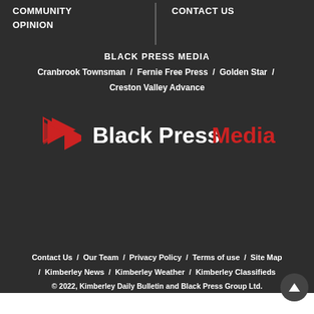COMMUNITY
OPINION
CONTACT US
BLACK PRESS MEDIA
Cranbrook Townsman / Fernie Free Press / Golden Star / Creston Valley Advance
[Figure (logo): Black Press Media logo with red arrow icon and 'Black Press Media' text where 'Media' is in red]
Contact Us / Our Team / Privacy Policy / Terms of use / Site Map / Kimberley News / Kimberley Weather / Kimberley Classifieds
© 2022, Kimberley Daily Bulletin and Black Press Group Ltd.